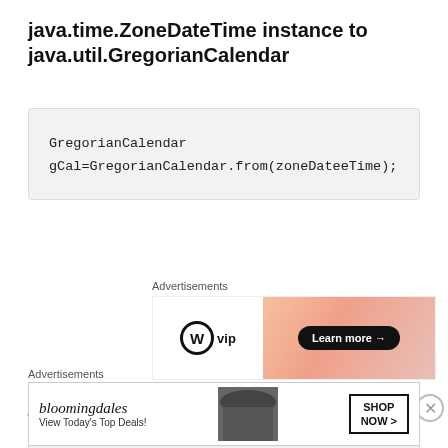java.time.ZoneDateTime instance to java.util.GregorianCalendar
[Figure (other): WordPress VIP advertisement banner with 'Learn more' button on gradient background]
java.util.TimeZone object to java.time.ZoneId
[Figure (other): Bloomingdale's advertisement banner with 'View Today's Top Deals!' and 'SHOP NOW >' button]